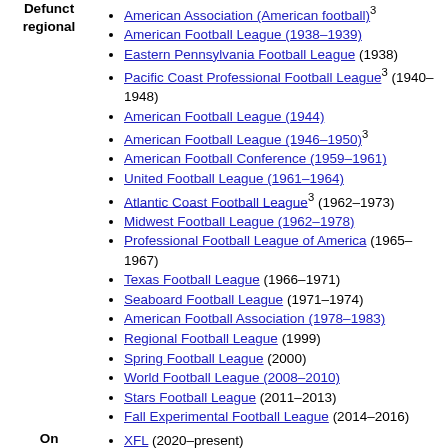American Association (American football)³
American Football League (1938–1939)
Eastern Pennsylvania Football League (1938)
Pacific Coast Professional Football League³ (1940–1948)
Defunct regional
American Football League (1944)
American Football League (1946–1950)³
American Football Conference (1959–1961)
United Football League (1961–1964)
Atlantic Coast Football League³ (1962–1973)
Midwest Football League (1962–1978)
Professional Football League of America (1965–1967)
Texas Football League (1966–1971)
Seaboard Football League (1971–1974)
American Football Association (1978–1983)
Regional Football League (1999)
Spring Football League (2000)
World Football League (2008–2010)
Stars Football League (2011–2013)
Fall Experimental Football League (2014–2016)
On hiatus
XFL (2020–present)
1 Merged into the NFL. All teams still active as members of